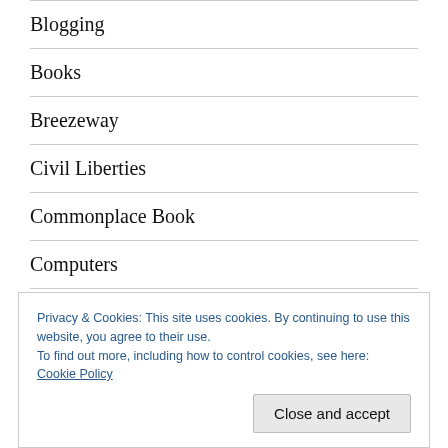Blogging
Books
Breezeway
Civil Liberties
Commonplace Book
Computers
Cyberespionage
Privacy & Cookies: This site uses cookies. By continuing to use this website, you agree to their use.
To find out more, including how to control cookies, see here: Cookie Policy
Close and accept
design